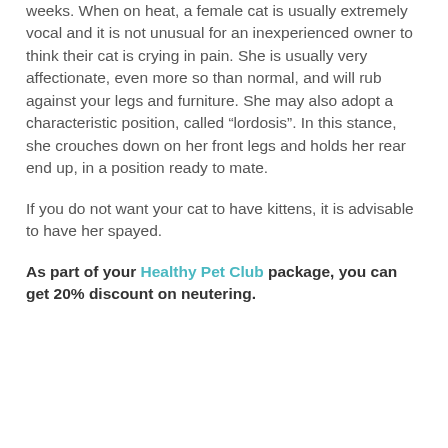weeks. When on heat, a female cat is usually extremely vocal and it is not unusual for an inexperienced owner to think their cat is crying in pain. She is usually very affectionate, even more so than normal, and will rub against your legs and furniture. She may also adopt a characteristic position, called “lordosis”. In this stance, she crouches down on her front legs and holds her rear end up, in a position ready to mate.
If you do not want your cat to have kittens, it is advisable to have her spayed.
As part of your Healthy Pet Club package, you can get 20% discount on neutering.